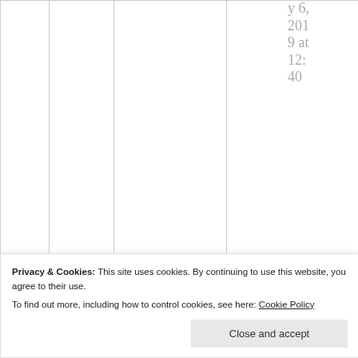y 6, 2019 at 12:40
No, not inside the hexagon. The controllers are the
Privacy & Cookies: This site uses cookies. By continuing to use this website, you agree to their use. To find out more, including how to control cookies, see here: Cookie Policy
Close and accept